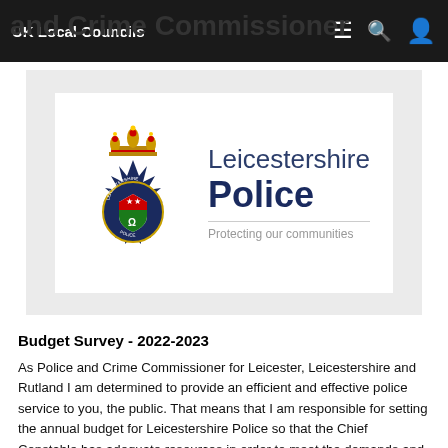and Crime Commissioner  UK Local Councils
[Figure (logo): Leicestershire Police logo — badge on the left with a crown, dark navy star-burst badge with shield, and text 'Leicestershire Police – Protecting our communities' on the right]
Budget Survey - 2022-2023
As Police and Crime Commissioner for Leicester, Leicestershire and Rutland I am determined to provide an efficient and effective police service to you, the public. That means that I am responsible for setting the annual budget for Leicestershire Police so that the Chief Constable has adequate resources in order to meet the demands and expectations of the public.